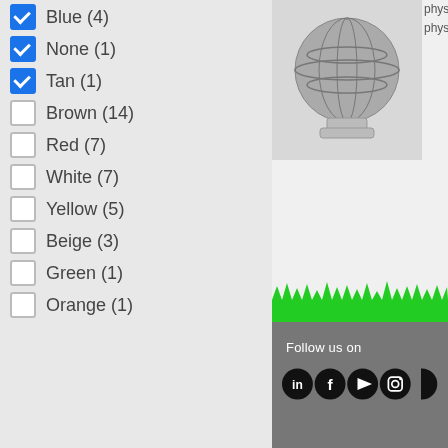Blue (4) - checked
None (1) - checked
Tan (1) - checked
Brown (14) - unchecked
Red (7) - unchecked
White (7) - unchecked
Yellow (5) - unchecked
Beige (3) - unchecked
Green (1) - unchecked
Orange (1) - unchecked
[Figure (photo): 3D rendered spherical object resembling a globe on a stand, grayscale]
physically physically
[Figure (illustration): Green grass silhouette illustration at the top of a dark gray footer section]
Follow us on
[Figure (infographic): Social media icons: LinkedIn, Facebook, YouTube, Instagram, and one more, white icons on black circular backgrounds]